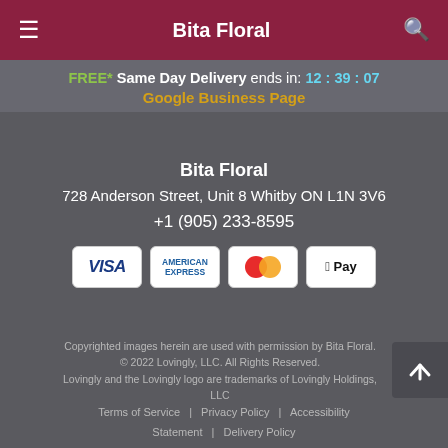Bita Floral
FREE* Same Day Delivery ends in: 12 : 39 : 07
Google Business Page
Bita Floral
728 Anderson Street, Unit 8 Whitby ON L1N 3V6
+1 (905) 233-8595
[Figure (infographic): Payment method icons: VISA, American Express, MasterCard, Apple Pay]
Copyrighted images herein are used with permission by Bita Floral. © 2022 Lovingly, LLC. All Rights Reserved. Lovingly and the Lovingly logo are trademarks of Lovingly Holdings, LLC
Terms of Service | Privacy Policy | Accessibility Statement | Delivery Policy